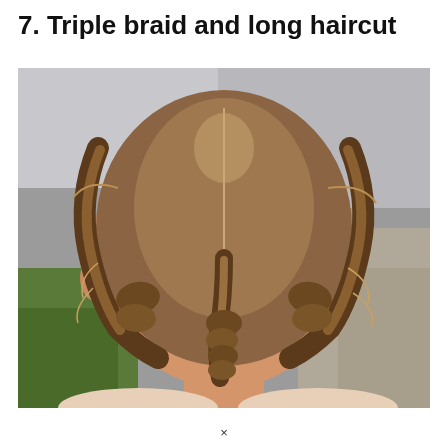7. Triple braid and long haircut
[Figure (photo): Back view of a child's head with three French braids converging into one braid down the center, with blurred green and grey background.]
×